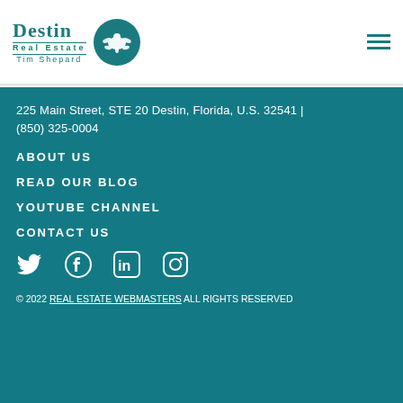[Figure (logo): Destin Real Estate Tim Shepard logo with teal turtle circle emblem]
225 Main Street, STE 20 Destin, Florida, U.S. 32541 | (850) 325-0004
ABOUT US
READ OUR BLOG
YOUTUBE CHANNEL
CONTACT US
[Figure (infographic): Social media icons: Twitter, Facebook, LinkedIn, Instagram]
© 2022 REAL ESTATE WEBMASTERS ALL RIGHTS RESERVED